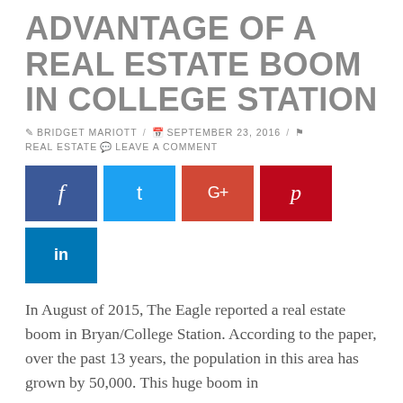ADVANTAGE OF A REAL ESTATE BOOM IN COLLEGE STATION
✏ BRIDGET MARIOTT / 📅 SEPTEMBER 23, 2016 / 🏷 REAL ESTATE 💬 LEAVE A COMMENT
[Figure (infographic): Social media share buttons: Facebook (blue), Twitter (light blue), Google+ (orange-red), Pinterest (red), LinkedIn (dark blue)]
In August of 2015, The Eagle reported a real estate boom in Bryan/College Station. According to the paper, over the past 13 years, the population in this area has grown by 50,000. This huge boom in